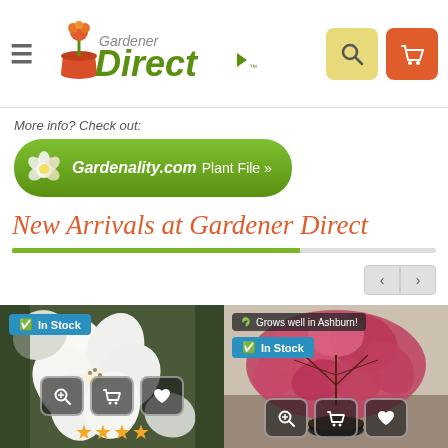Gardener Direct — navigation header with logo, search and cart buttons
[Figure (screenshot): Gardenality.com Plant File banner button with flower icon on green pill-shaped background]
More info? Check out:
New Arrivals at Gardener Direct
[Figure (photo): White azalea flowers close-up with In Stock badge and action buttons (zoom, cart, heart); 4 gold stars rating]
[Figure (photo): Japanese maple with red/pink feathery leaves in pot; Grows well in Ashburn! and In Stock badges; action buttons (zoom, cart, heart)]